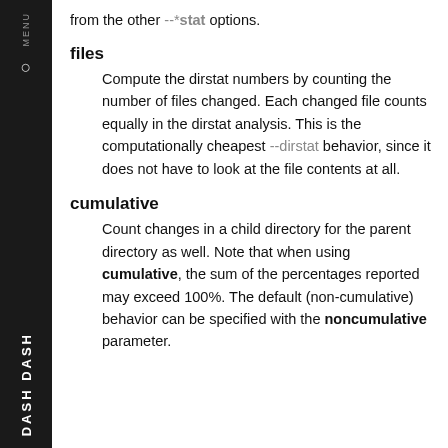from the other --*stat options.
files
Compute the dirstat numbers by counting the number of files changed. Each changed file counts equally in the dirstat analysis. This is the computationally cheapest --dirstat behavior, since it does not have to look at the file contents at all.
cumulative
Count changes in a child directory for the parent directory as well. Note that when using cumulative, the sum of the percentages reported may exceed 100%. The default (non-cumulative) behavior can be specified with the noncumulative parameter.